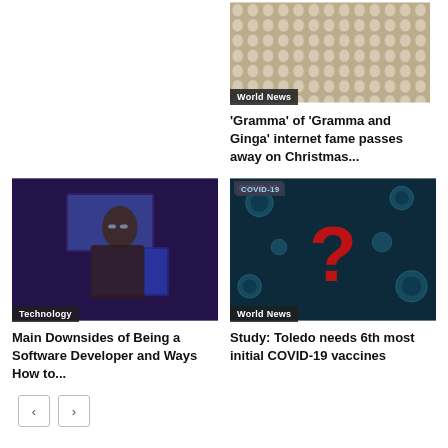[Figure (photo): Close-up of a woven or tiled texture with circular pale/cream colored oval shapes, top-right column]
World News
'Gramma' of 'Gramma and Ginga' internet fame passes away on Christmas...
[Figure (photo): Person working at computer in dark purple-lit room, Technology badge]
Technology
Main Downsides of Being a Software Developer and Ways How to...
[Figure (photo): COVID-19 themed image with dark teal background, virus particles, and large red question mark, World News badge]
World News
Study: Toledo needs 6th most initial COVID-19 vaccines